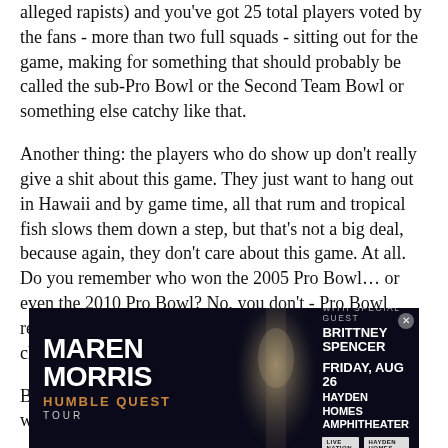alleged rapists) and you've got 25 total players voted by the fans - more than two full squads - sitting out for the game, making for something that should probably be called the sub-Pro Bowl or the Second Team Bowl or something else catchy like that.
Another thing: the players who do show up don't really give a shit about this game. They just want to hang out in Hawaii and by game time, all that rum and tropical fish slows them down a step, but that's not a big deal, because again, they don't care about this game. At all. Do you remember who won the 2005 Pro Bowl... or even the 2010 Pro Bowl? No, you don't - Pro Bowl results are about as memorable as American Idol champions.
But will you and I be watching the Pro Bowl this weekend? Well, we better - otherwise we'll be curled
[Figure (infographic): Advertisement for Maren Morris Humble Quest Tour featuring special guest Brittney Spencer, Friday Aug 26 at Hayden Homes Amphitheater, with Live Nation logo]